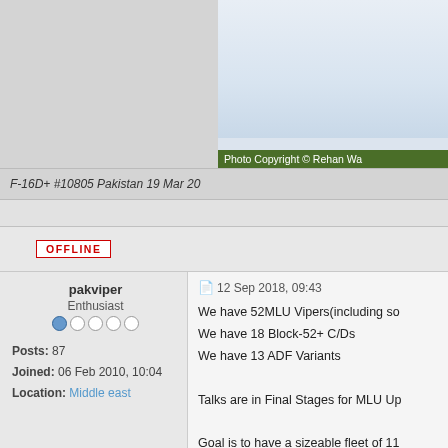[Figure (photo): Partial view of an aircraft photo, showing sky/clouds background, partially cropped. Bottom shows green copyright bar.]
Photo Copyright © Rehan Wa...
F-16D+ #10805 Pakistan 19 Mar 20...
OFFLINE
pakviper
Enthusiast
Posts: 87
Joined: 06 Feb 2010, 10:04
Location: Middle east
12 Sep 2018, 09:43
We have 52MLU Vipers(including so...
We have 18 Block-52+ C/Ds
We have 13 ADF Variants

Talks are in Final Stages for MLU Up...

Goal is to have a sizeable fleet of 11...